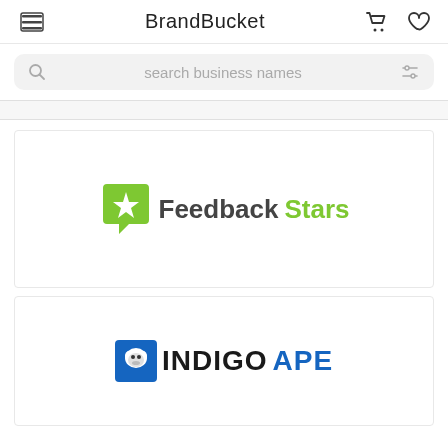BrandBucket
search business names
[Figure (logo): FeedbackStars logo: green speech bubble with star icon, text 'Feedback' in dark gray and 'Stars' in green]
[Figure (logo): IndigoApe logo: blue square with ape face icon, text 'INDIGO' in dark/black bold and 'APE' in blue bold]